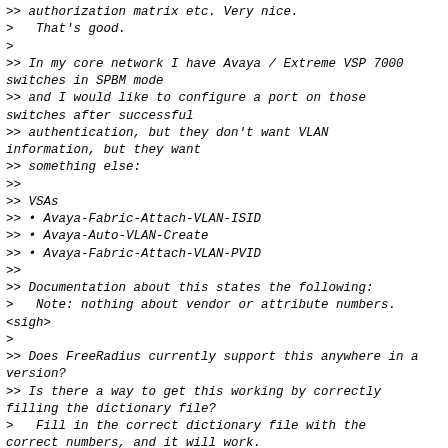>> authorization matrix etc. Very nice.
>   That's good.
>
>> In my core network I have Avaya / Extreme VSP 7000 switches in SPBM mode
>> and I would like to configure a port on those switches after successful
>> authentication, but they don't want VLAN information, but they want
>> something else:
>>
>> VSAs
>> • Avaya-Fabric-Attach-VLAN-ISID
>> • Avaya-Auto-VLAN-Create
>> • Avaya-Fabric-Attach-VLAN-PVID
>>
>> Documentation about this states the following:
>   Note: nothing about vendor or attribute numbers.
<sigh>
>
>> Does FreeRadius currently support this anywhere in a version?
>> Is there a way to get this working by correctly filling the dictionary file?
>   Fill in the correct dictionary file with the correct numbers, and it will work.
>
>> The man page for the dictionary file states that the VSA's configured
>> there will never be send in a radius packet, which